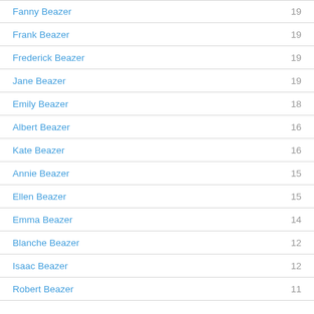Fanny Beazer 19
Frank Beazer 19
Frederick Beazer 19
Jane Beazer 19
Emily Beazer 18
Albert Beazer 16
Kate Beazer 16
Annie Beazer 15
Ellen Beazer 15
Emma Beazer 14
Blanche Beazer 12
Isaac Beazer 12
Robert Beazer 11